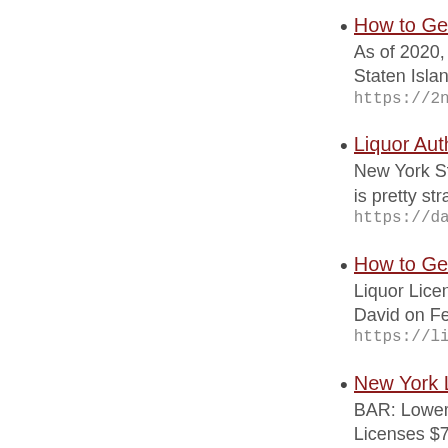How to Get a Liquo
As of 2020, the c Staten Island) is
https://2ndkitc
Liquor Authority C
New York State l is pretty straight
https://data.ny
How to Get a Liquo
Liquor License N David on Feb 21
https://liquora
New York Liquor L
BAR: Lower Eas Licenses $75,00
https://newy
How Much Does a
The cost of a Bro person who solic